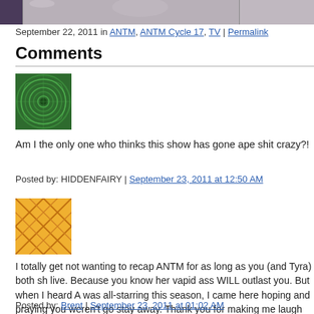[Figure (photo): Partial photo strip at top of page showing cropped image]
September 22, 2011 in ANTM, ANTM Cycle 17, TV | Permalink
Comments
[Figure (photo): Green spiral avatar for user HIDDENFAIRY]
Am I the only one who thinks this show has gone ape shit crazy?!
Posted by: HIDDENFAIRY | September 23, 2011 at 12:50 AM
[Figure (photo): Orange geometric avatar for user Brent]
I totally get not wanting to recap ANTM for as long as you (and Tyra) both sh live. Because you know her vapid ass WILL outlast you. But when I heard A was all-starring this season, I came here hoping and praying you weren't go stay away. Thank you for making me laugh outloud like I have for years rea your recaps before.

Also, I'm kind of bummed Dominique has all her teeth. At least she still has unique bone structure/drag face/all-this/pretty.
Posted by: Brent | September 23, 2011 at 01:02 AM